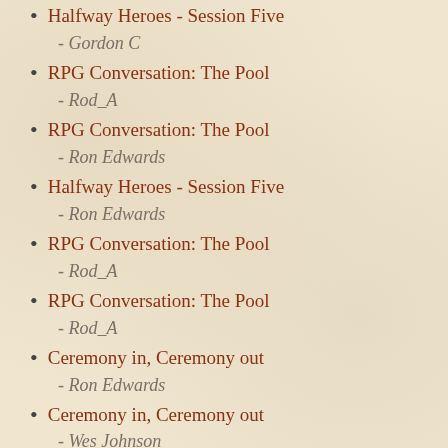Halfway Heroes - Session Five
- Gordon C
RPG Conversation: The Pool
- Rod_A
RPG Conversation: The Pool
- Ron Edwards
Halfway Heroes - Session Five
- Ron Edwards
RPG Conversation: The Pool
- Rod_A
RPG Conversation: The Pool
- Rod_A
Ceremony in, Ceremony out
- Ron Edwards
Ceremony in, Ceremony out
- Wes Johnson
Halfway Heroes - Session Five